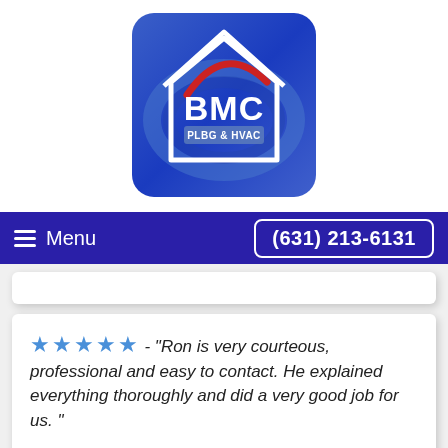[Figure (logo): BMC Plumbing & HVAC logo: blue rounded square background with a white house outline, blue swirl, red arc, and 'BMC' in large bold letters with 'PLBG & HVAC' text below]
Menu  (631) 213-6131
★★★★★ - "Ron is very courteous, professional and easy to contact. He explained everything thoroughly and did a very good job for us. "
Install Central Humidifier in Smithtown, NY
★★★★★ - "Ron from bonded heating was very